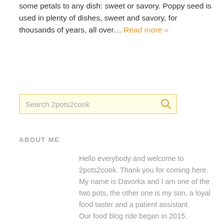some petals to any dish: sweet or savory. Poppy seed is used in plenty of dishes, sweet and savory, for thousands of years, all over… Read more »
[Figure (other): Search input box with magnifying glass icon button, labeled 'Search 2pots2cook']
ABOUT ME
Hello everybody and welcome to 2pots2cook. Thank you for coming here. My name is Davorka and I am one of the two pots, the other one is my son, a loyal food taster and a patient assistant. Our food blog ride began in 2015. Read more